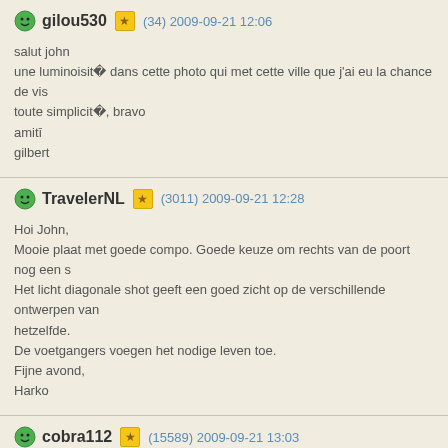gilou530 (34) 2009-09-21 12:06
salut john
une luminoisité dans cette photo qui met cette ville que j'ai eu la chance de vis
toute simplicité, bravo
amitié
gilbert
TravelerNL (3011) 2009-09-21 12:28
Hoi John,
Mooie plaat met goede compo. Goede keuze om rechts van de poort nog een s
Het licht diagonale shot geeft een goed zicht op de verschillende ontwerpen van hetzelfde.
De voetgangers voegen het nodige leven toe.
Fijne avond,
Harko
cobra112 (15589) 2009-09-21 13:03
Hi John. Excellent DOF and contrast here with great light on the perspective. Ni

Roberto